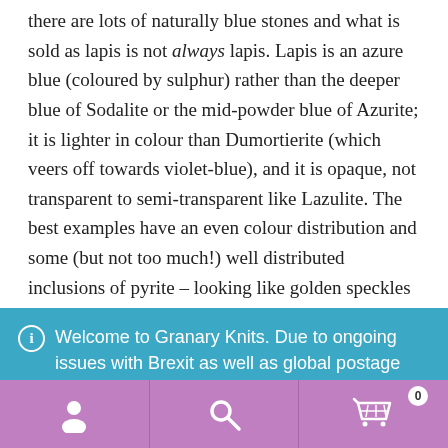there are lots of naturally blue stones and what is sold as lapis is not always lapis. Lapis is an azure blue (coloured by sulphur) rather than the deeper blue of Sodalite or the mid-powder blue of Azurite; it is lighter in colour than Dumortierite (which veers off towards violet-blue), and it is opaque, not transparent to semi-transparent like Lazulite. The best examples have an even colour distribution and some (but not too much!) well distributed inclusions of pyrite – looking like golden speckles within the stone.
ⓘ Welcome to Granary Knits. Due to ongoing issues with Brexit as well as global postage prices, we are sadly unable to sell outside the UK. Dismiss
[Figure (other): Bottom navigation bar with three icons: user/account icon, search icon, and shopping cart icon with badge showing 0, on a purple background]